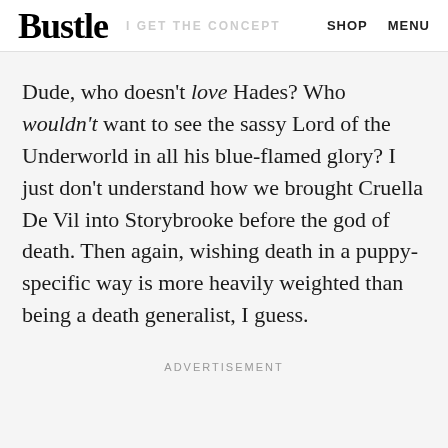Bustle | I GET THE CONCEPT | SHOP | MENU
Dude, who doesn't love Hades? Who wouldn't want to see the sassy Lord of the Underworld in all his blue-flamed glory? I just don't understand how we brought Cruella De Vil into Storybrooke before the god of death. Then again, wishing death in a puppy-specific way is more heavily weighted than being a death generalist, I guess.
ADVERTISEMENT